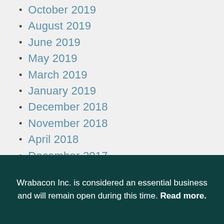October 2019
August 2019
June 2019
May 2019
March 2019
January 2019
December 2018
November 2018
April 2018
December 2017
October 2017
July 2017
June 2017
March 2017
August 2013
Wrabacon Inc. is considered an essential business and will remain open during this time. Read more.